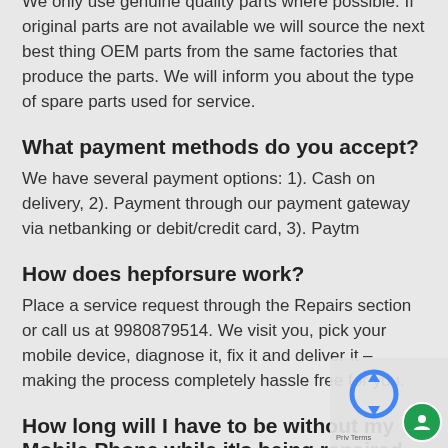We only use genuine quality parts where possible. If original parts are not available we will source the next best thing OEM parts from the same factories that produce the parts. We will inform you about the type of spare parts used for service.
What payment methods do you accept?
We have several payment options: 1). Cash on delivery, 2). Payment through our payment gateway via netbanking or debit/credit card, 3). Paytm
How does hepforsure work?
Place a service request through the Repairs section or call us at 9980879514. We visit you, pick your mobile device, diagnose it, fix it and deliver it – making the process completely hassle free for you.
How long will I have to be without my Mobile Phone while it's being repaired by Mobile Repair Centre?
Most repairs are carried out within 24 hours; broken scre repairs are completed on the same day! Some high leve...